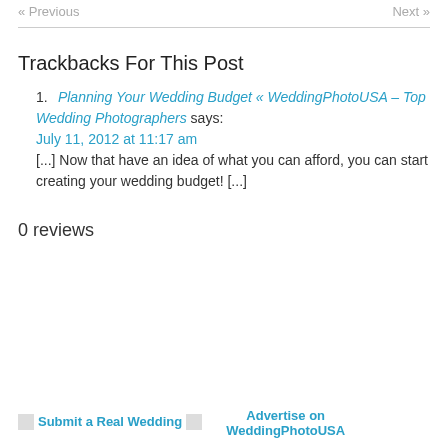« Previous    Next »
Trackbacks For This Post
Planning Your Wedding Budget « WeddingPhotoUSA – Top Wedding Photographers says:
July 11, 2012 at 11:17 am
[...] Now that have an idea of what you can afford, you can start creating your wedding budget! [...]
0 reviews
Submit a Real Wedding   Advertise on WeddingPhotoUSA